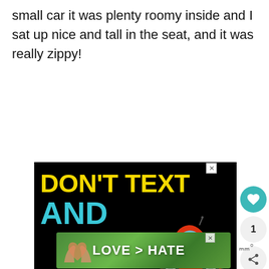small car it was plenty roomy inside and I sat up nice and tall in the seat, and it was really zippy!
[Figure (illustration): Ad with black background showing 'DON'T TEXT AND' in large yellow and cyan text with a red car emoji, ad council and NHTSA logos at the bottom. Close (X) button in top right corner.]
[Figure (illustration): Second advertisement showing 'LOVE > HATE' text over a green nature background with hands forming a heart shape. Close (X) button. W logo to the right.]